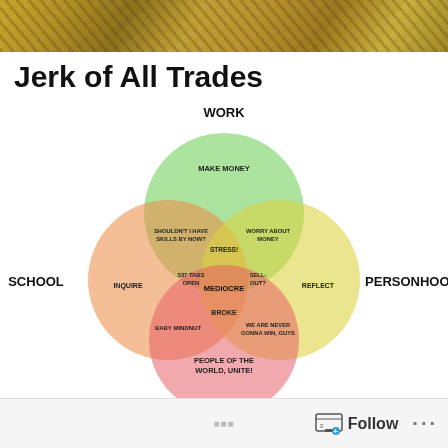[Figure (photo): Decorative header photo with golden/yellow patterned fabric or mosaic texture]
Jerk of All Trades
[Figure (infographic): Venn diagram with 4 overlapping circles labeled WORK (green, top), SCHOOL (orange, left), PERSONHOOD (yellow, right), and a pink circle at bottom. Overlapping regions contain text: MAKE MONEY (work only), SHOULDN'T I HAVE SKILLS BY NOW? (work-school overlap), WORRY ABOUT MONEY (work-personhood), STRESS! (work triple overlap area), INQUIRE (school only), 537 TABS OPEN (school-work-personhood overlap), MEDIOCRE (center of all four), SELL-OUT? (work-personhood overlap), REFLECT (personhood only), BABY MINDNUT (school-bottom), BROKE (center-bottom area), WE ARE NEVER GONNA WIN, GUYS (personhood-bottom), PEOPLE OF THE WORLD, UNITE! (bottom circle). Labels outside circles: WORK (top), SCHOOL (left), PERSONHOOD (right).]
Follow ...